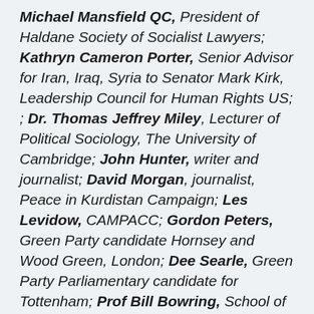Michael Mansfield QC, President of Haldane Society of Socialist Lawyers; Kathryn Cameron Porter, Senior Advisor for Iran, Iraq, Syria to Senator Mark Kirk, Leadership Council for Human Rights US; ; Dr. Thomas Jeffrey Miley, Lecturer of Political Sociology, The University of Cambridge; John Hunter, writer and journalist; David Morgan, journalist, Peace in Kurdistan Campaign; Les Levidow, CAMPACC; Gordon Peters, Green Party candidate Hornsey and Wood Green, London; Dee Searle, Green Party Parliamentary candidate for Tottenham; Prof Bill Bowring, School of Law, Birkbeck College ; Russell T... [continues]